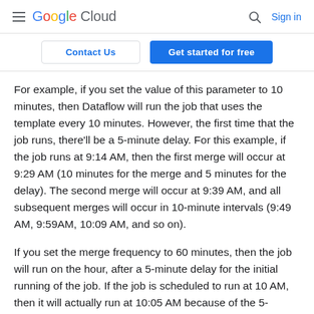Google Cloud — Contact Us | Get started for free | Sign in
For example, if you set the value of this parameter to 10 minutes, then Dataflow will run the job that uses the template every 10 minutes. However, the first time that the job runs, there'll be a 5-minute delay. For this example, if the job runs at 9:14 AM, then the first merge will occur at 9:29 AM (10 minutes for the merge and 5 minutes for the delay). The second merge will occur at 9:39 AM, and all subsequent merges will occur in 10-minute intervals (9:49 AM, 9:59AM, 10:09 AM, and so on).
If you set the merge frequency to 60 minutes, then the job will run on the hour, after a 5-minute delay for the initial running of the job. If the job is scheduled to run at 10 AM, then it will actually run at 10:05 AM because of the 5-